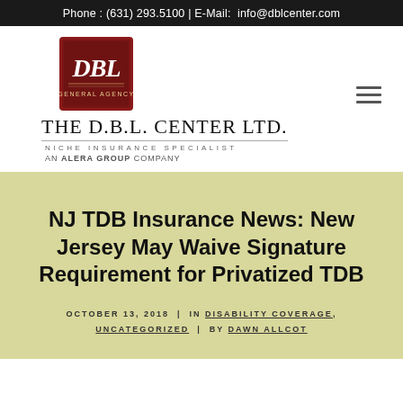Phone : (631) 293.5100 | E-Mail:  info@dblcenter.com
[Figure (logo): DBL General Agency logo badge in dark red/maroon square with cursive DBL text and GENERAL AGENCY text below; company name THE D.B.L. CENTER LTD. with NICHE INSURANCE SPECIALIST and AN ALERA GROUP COMPANY below]
NJ TDB Insurance News: New Jersey May Waive Signature Requirement for Privatized TDB
OCTOBER 13, 2018  |  IN DISABILITY COVERAGE, UNCATEGORIZED  |  BY DAWN ALLCOT